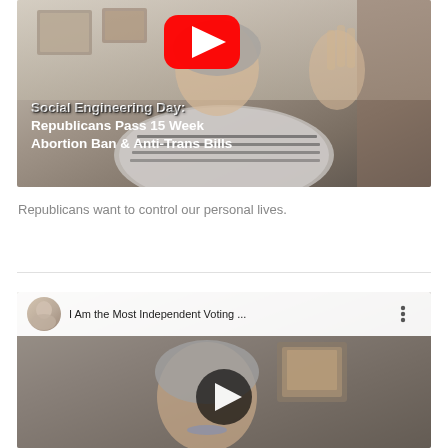[Figure (screenshot): YouTube video thumbnail showing a woman in a striped shirt with gray hair, hands raised, in an office setting. A red YouTube play button is visible. Text overlay reads: 'Social Engineering Day: Republicans Pass 15 Week Abortion Ban & Anti-Trans Bills']
Republicans want to control our personal lives.
[Figure (screenshot): Embedded YouTube video player showing a woman with gray hair and blue necklace in a softly lit room with a framed artwork. A dark play button is centered. The video header bar shows a channel avatar photo and title 'I Am the Most Independent Voting ...' with a three-dot menu icon.]